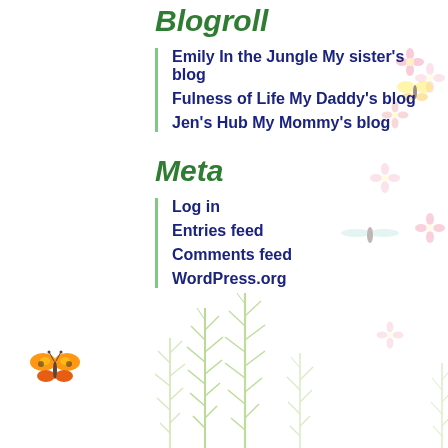Blogroll
Emily In the Jungle My sister's blog
Fulness of Life My Daddy's blog
Jen's Hub My Mommy's blog
Meta
Log in
Entries feed
Comments feed
WordPress.org
[Figure (illustration): Decorative spring scene with pink flowers, a yellow butterfly, grass/fern plants in light green, and an orange butterfly at bottom left]